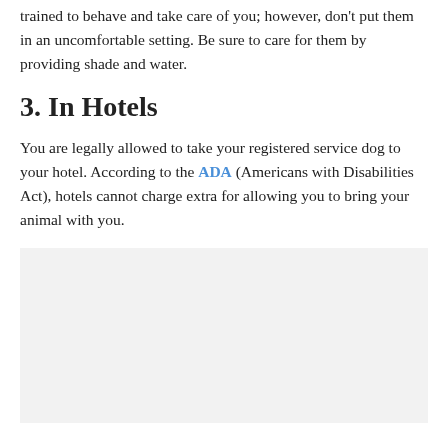trained to behave and take care of you; however, don't put them in an uncomfortable setting. Be sure to care for them by providing shade and water.
3. In Hotels
You are legally allowed to take your registered service dog to your hotel. According to the ADA (Americans with Disabilities Act), hotels cannot charge extra for allowing you to bring your animal with you.
[Figure (photo): Gray placeholder image area below the text content]